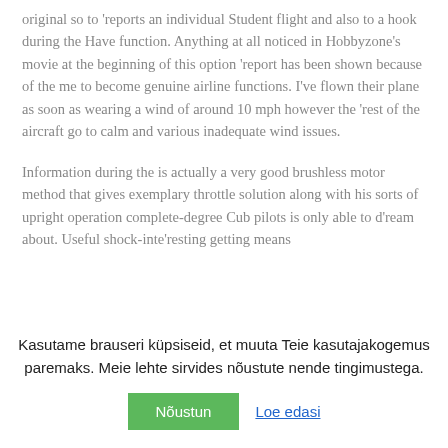original so to 'reports an individual Student flight and also to a hook during the Have function. Anything at all noticed in Hobbyzone's movie at the beginning of this option 'report has been shown because of the me to become genuine airline functions. I've flown their plane as soon as wearing a wind of around 10 mph however the 'rest of the aircraft go to calm and various inadequate wind issues.
Information during the is actually a very good brushless motor method that gives exemplary throttle solution along with his sorts of upright operation complete-degree Cub pilots is only able to d'ream about. Useful shock-inte'resting getting means
Kasutame brauseri küpsiseid, et muuta Teie kasutajakogemus paremaks. Meie lehte sirvides nõustute nende tingimustega.
Nõustun
Loe edasi